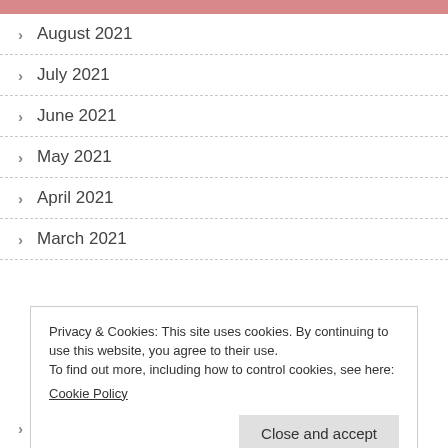August 2021
July 2021
June 2021
May 2021
April 2021
March 2021
Privacy & Cookies: This site uses cookies. By continuing to use this website, you agree to their use.
To find out more, including how to control cookies, see here:
Cookie Policy
Close and accept
December 2020